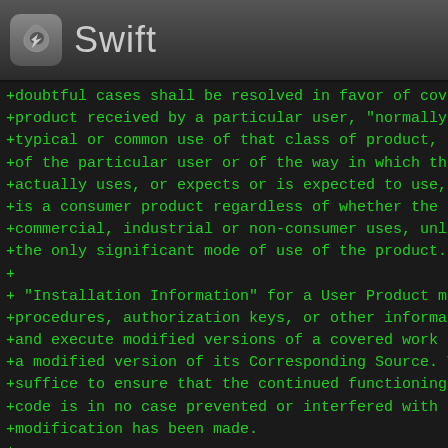Swift
+doubtful cases shall be resolved in favor of covera
+product received by a particular user, "normally us
+typical or common use of that class of product, reg
+of the particular user or of the way in which the p
+actually uses, or expects or is expected to use, th
+is a consumer product regardless of whether the pro
+commercial, industrial or non-consumer uses, unless
+the only significant mode of use of the product.
+
+  "Installation Information" for a User Product mea
+procedures, authorization keys, or other informatio
+and execute modified versions of a covered work in
+a modified version of its Corresponding Source.  Th
+suffice to ensure that the continued functioning of
+code is in no case prevented or interfered with sol
+modification has been made.
+
+  If you convey an object code work under this sect
+specifically for use in, a User Product, and the co
+part of a transaction in which the right of possess